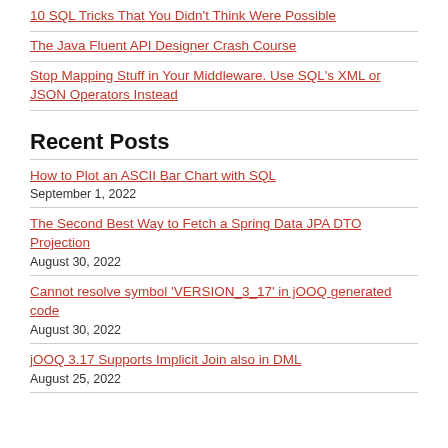10 SQL Tricks That You Didn't Think Were Possible
The Java Fluent API Designer Crash Course
Stop Mapping Stuff in Your Middleware. Use SQL's XML or JSON Operators Instead
Recent Posts
How to Plot an ASCII Bar Chart with SQL
September 1, 2022
The Second Best Way to Fetch a Spring Data JPA DTO Projection
August 30, 2022
Cannot resolve symbol 'VERSION_3_17' in jOOQ generated code
August 30, 2022
jOOQ 3.17 Supports Implicit Join also in DML
August 25, 2022